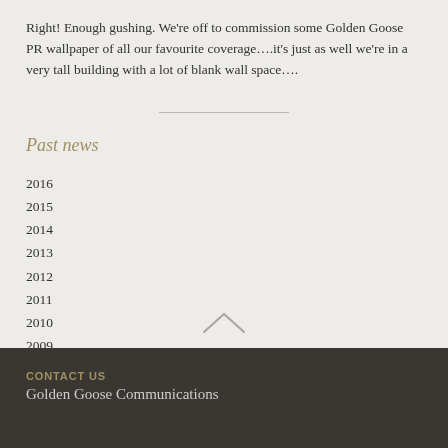Right! Enough gushing. We're off to commission some Golden Goose PR wallpaper of all our favourite coverage….it's just as well we're in a very tall building with a lot of blank wall space….
Past news
2016
2015
2014
2013
2012
2011
2010
2009
2008
CONTACT US
Golden Goose Communications